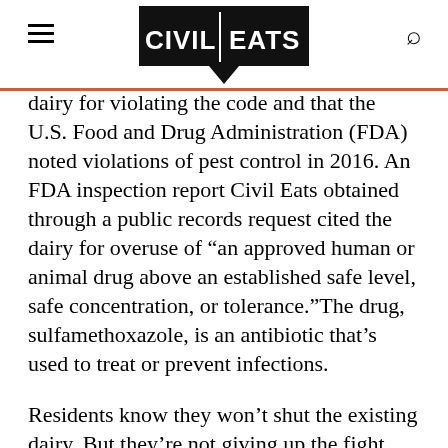Civil Eats
dairy for violating the code and that the U.S. Food and Drug Administration (FDA) noted violations of pest control in 2016. An FDA inspection report Civil Eats obtained through a public records request cited the dairy for overuse of “an approved human or animal drug above an established safe level, safe concentration, or tolerance.”The drug, sulfamethoxazole, is an antibiotic that’s used to treat or prevent infections.
Residents know they won’t shut the existing dairy. But they’re not giving up the fight against more mega-dairies moving in. A post in June on their Facebook page called for support: “Who has the most at stake? People trying to earn a living in